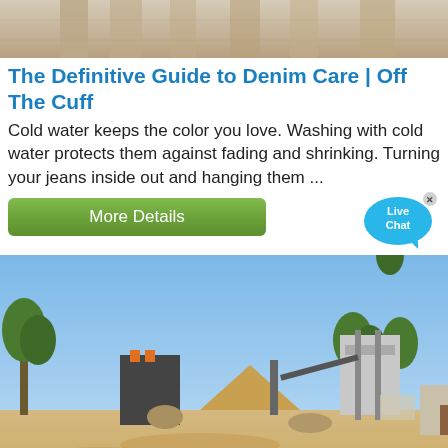[Figure (photo): Top banner image showing stone pillars or columns in warm beige/tan tones]
The Definitive Guide to Denim Care | Off The Cuff
Cold water keeps the color you love. Washing with cold water protects them against fading and shrinking. Turning your jeans inside out and hanging them …
[Figure (other): Green 'More Details' button and Live Chat bubble overlay]
[Figure (photo): Outdoor construction or quarry site with industrial machinery, sandy ground, trees, and blue sky]
Rite...